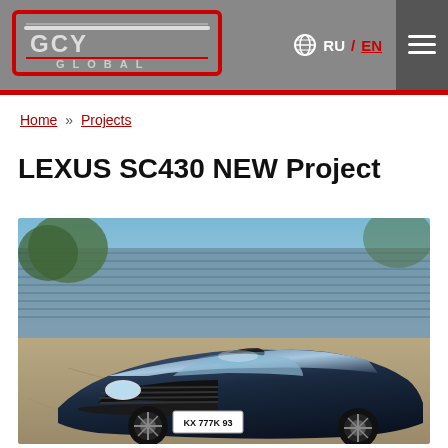GCY GLOBAL — RU/EN — navigation menu
Home » Projects
LEXUS SC430 NEW Project
[Figure (photo): A black Lexus SC430 sports car photographed from a front-high angle in an outdoor parking area. The car has a heavily modified body kit with an aggressive front fascia, large horizontal grille bars, hood scoop, and aftermarket black wheels. License plate reads KX 777K 93. Background shows trees, a blue corrugated metal fence, and concrete ground.]